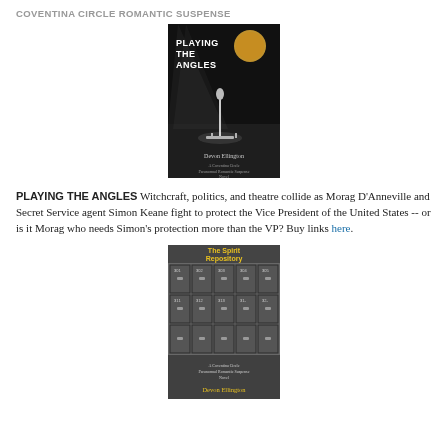COVENTINA CIRCLE ROMANTIC SUSPENSE
[Figure (illustration): Book cover for 'Playing the Angles' by Devon Ellington — dark background with a spotlight-lit stage microphone stand and a full moon in the upper right corner. Text reads: PLAYING THE ANGLES, Devon Ellington, A Coventina Circle Paranormal Romantic Suspense Novel.]
PLAYING THE ANGLES Witchcraft, politics, and theatre collide as Morag D'Anneville and Secret Service agent Simon Keane fight to protect the Vice President of the United States -- or is it Morag who needs Simon's protection more than the VP? Buy links here.
[Figure (illustration): Book cover for 'The Spirit Repository' by Devon Ellington — shows a row of metal safe deposit boxes or lockers with numbers. Title text 'The Spirit Repository' is in yellow, subtitle and author name 'Devon Ellington' appear at the bottom.]